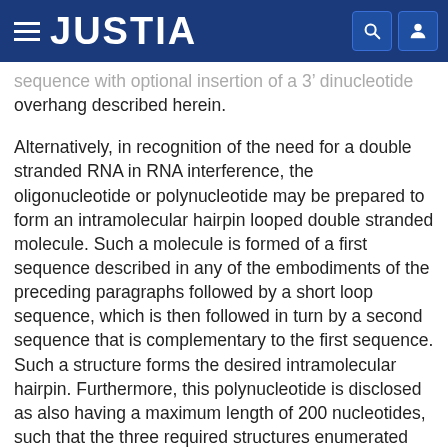JUSTIA
sequence with optional insertion of a 3' dinucleotide overhang described herein.
Alternatively, in recognition of the need for a double stranded RNA in RNA interference, the oligonucleotide or polynucleotide may be prepared to form an intramolecular hairpin looped double stranded molecule. Such a molecule is formed of a first sequence described in any of the embodiments of the preceding paragraphs followed by a short loop sequence, which is then followed in turn by a second sequence that is complementary to the first sequence. Such a structure forms the desired intramolecular hairpin. Furthermore, this polynucleotide is disclosed as also having a maximum length of 200 nucleotides, such that the three required structures enumerated may be constituted in any oligonucleotide or polynucleotide having any overall length of up to 200 nucleotides. A hairpin loop